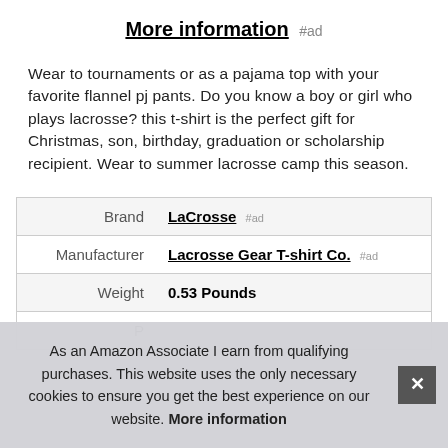More information #ad
Wear to tournaments or as a pajama top with your favorite flannel pj pants. Do you know a boy or girl who plays lacrosse? this t-shirt is the perfect gift for Christmas, son, birthday, graduation or scholarship recipient. Wear to summer lacrosse camp this season.
|  |  |
| --- | --- |
| Brand | LaCrosse #ad |
| Manufacturer | Lacrosse Gear T-shirt Co. #ad |
| Weight | 0.53 Pounds |
| P |  |
As an Amazon Associate I earn from qualifying purchases. This website uses the only necessary cookies to ensure you get the best experience on our website. More information